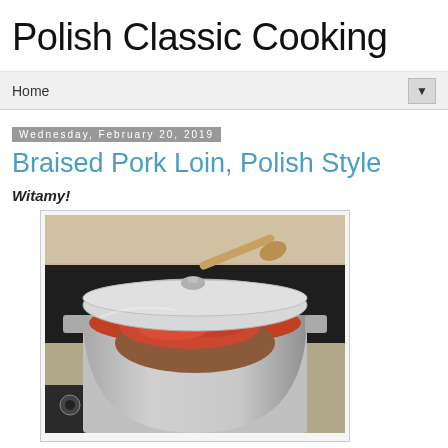Polish Classic Cooking
Home
Wednesday, February 20, 2019
Braised Pork Loin, Polish Style
Witamy!
[Figure (photo): A pot of braised pork loin with tomatoes cooking on a stovetop, lid partially open with a wooden spoon resting on top. Granite countertop visible in background.]